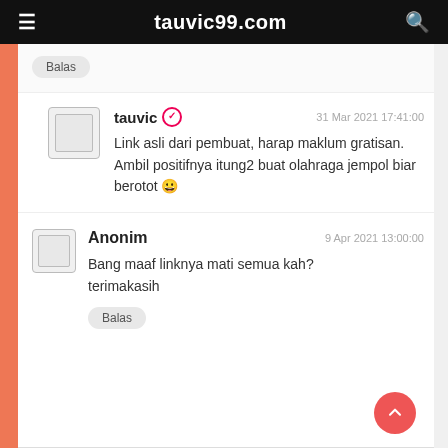tauvic99.com
Balas
tauvic ✓   31 Mar 2021 17:41:00
Link asli dari pembuat, harap maklum gratisan. Ambil positifnya itung2 buat olahraga jempol biar berotot 😀
Anonim   9 Apr 2021 13:00:00
Bang maaf linknya mati semua kah?
terimakasih
Balas